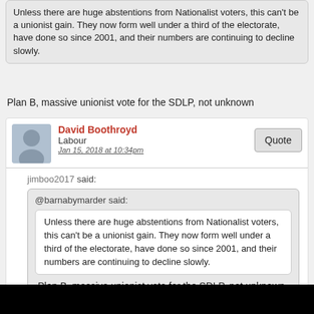Unless there are huge abstentions from Nationalist voters, this can't be a unionist gain. They now form well under a third of the electorate, have done so since 2001, and their numbers are continuing to decline slowly.
Plan B, massive unionist vote for the SDLP, not unknown
David Boothroyd
Labour
Jan 15, 2018 at 10:34pm
jimboo2017 said:
@barnabymarder said:
Unless there are huge abstentions from Nationalist voters, this can't be a unionist gain. They now form well under a third of the electorate, have done so since 2001, and their numbers are continuing to decline slowly.
Plan B, massive unionist vote for the SDLP, not unknown
It's practically unknown in Co Tyrone.